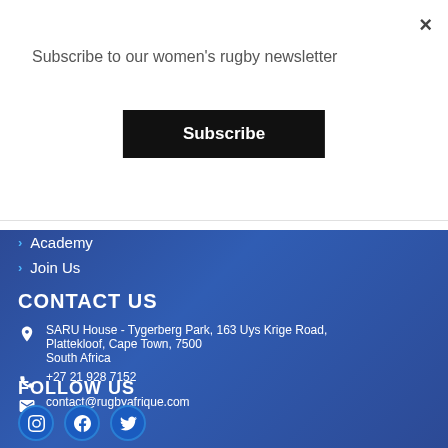Subscribe to our women's rugby newsletter
Subscribe
Academy
Join Us
CONTACT US
SARU House - Tygerberg Park, 163 Uys Krige Road, Plattekloof, Cape Town, 7500
South Africa
+27 21 928 7152
contact@rugbyafrique.com
FOLLOW US
[Figure (infographic): Social media icons: Instagram, Facebook, Twitter in blue circles]